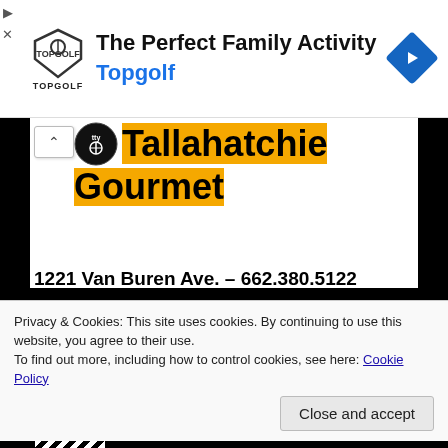[Figure (screenshot): Topgolf advertisement banner with shield logo, 'The Perfect Family Activity' headline, 'Topgolf' in blue, and a blue diamond arrow icon on the right. Play/close controls on the left edge.]
Tallahatchie Gourmet
1221 Van Buren Ave. – 662.380.5122
11 am–2:30 pm: dine-in or delivery: Fetcht. Retail open until 5 pm.
Privacy & Cookies: This site uses cookies. By continuing to use this website, you agree to their use.
To find out more, including how to control cookies, see here: Cookie Policy